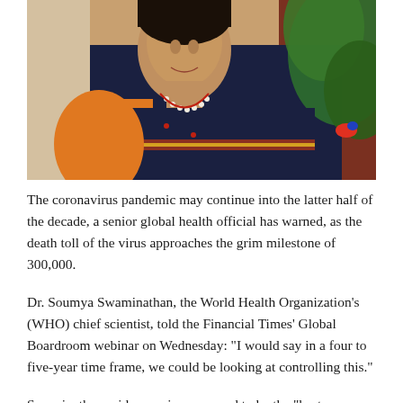[Figure (photo): Portrait photograph of Dr. Soumya Swaminathan, a woman wearing a dark navy sari with a red and gold border, and a pearl necklace. She is seated with green tropical plant leaves visible in the background.]
The coronavirus pandemic may continue into the latter half of the decade, a senior global health official has warned, as the death toll of the virus approaches the grim milestone of 300,000.
Dr. Soumya Swaminathan, the World Health Organization’s (WHO) chief scientist, told the Financial Times’ Global Boardroom webinar on Wednesday: “I would say in a four to five-year time frame, we could be looking at controlling this.”
Swaminathan said a vaccine appeared to be the “best way